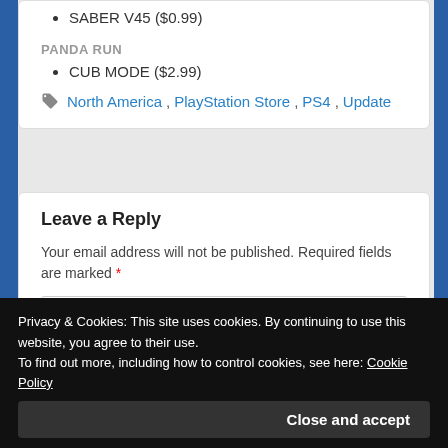SABER V45 ($0.99)
PANDA RUN
CUB MODE ($2.99)
North America, PlayStation Store, PS4, Update
Leave a Reply
Your email address will not be published. Required fields are marked *
Privacy & Cookies: This site uses cookies. By continuing to use this website, you agree to their use. To find out more, including how to control cookies, see here: Cookie Policy
Close and accept